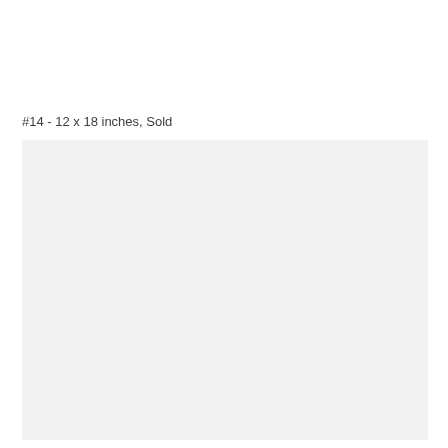#14 - 12 x 18 inches, Sold
[Figure (photo): A large light gray rectangular placeholder image area, approximately 12x18 inch proportions, with a uniform light gray background fill.]